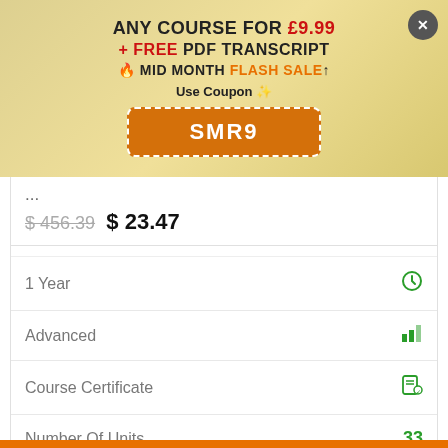[Figure (screenshot): Promotional banner with gold/yellow gradient background. Text: ANY COURSE FOR £9.99 + FREE PDF TRANSCRIPT 🔥 MID MONTH FLASH SALE↑. Use Coupon. Orange dashed coupon box with code SMR9. Grey close button (X) in top right corner.]
...
$456.39 $23.47
| Feature | Value |
| --- | --- |
| 1 Year | clock icon |
| Advanced | bar chart icon |
| Course Certificate | certificate icon |
| Number Of Units | 33 |
| Number Of Quizzes | 0 |
| 3 Hours, 51 Minutes | clock icon |